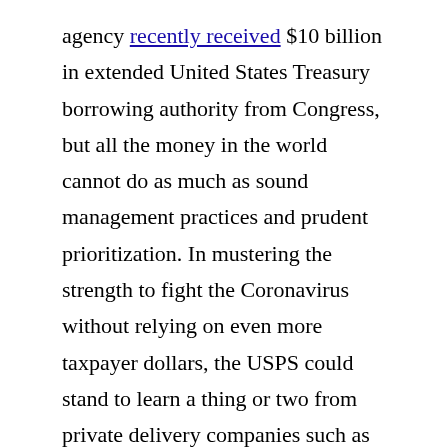agency recently received $10 billion in extended United States Treasury borrowing authority from Congress, but all the money in the world cannot do as much as sound management practices and prudent prioritization. In mustering the strength to fight the Coronavirus without relying on even more taxpayer dollars, the USPS could stand to learn a thing or two from private delivery companies such as FedEx and United Parcel Service (UPS).
The USPS has certainly not been spared from the pandemic and continues operations (including in-store) despite the safety risks of eschewing social distancing. Although management has produced a